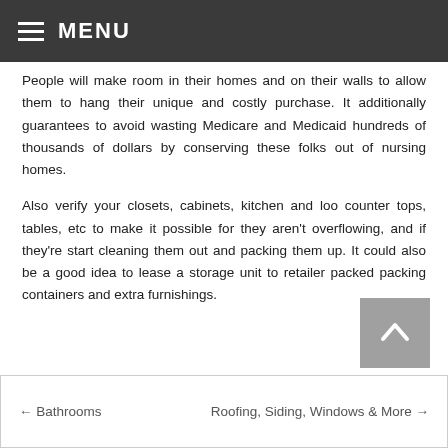☰ MENU
People will make room in their homes and on their walls to allow them to hang their unique and costly purchase. It additionally guarantees to avoid wasting Medicare and Medicaid hundreds of thousands of dollars by conserving these folks out of nursing homes.
Also verify your closets, cabinets, kitchen and loo counter tops, tables, etc to make it possible for they aren't overflowing, and if they're start cleaning them out and packing them up. It could also be a good idea to lease a storage unit to retailer packed packing containers and extra furnishings.
[Figure (other): Scroll-to-top button with upward chevron arrow on grey background]
← Bathrooms    Roofing, Siding, Windows & More →